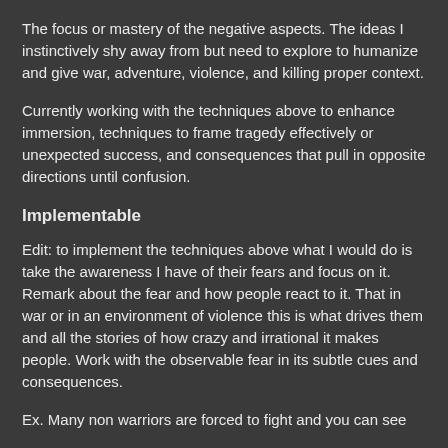The focus or mastery of the negative aspects. The ideas I instinctively shy away from but need to explore to humanize and give war, adventure, violence, and killing proper context.
Currently working with the techniques above to enhance immersion, techniques to frame tragedy effectively or unexpected success, and consequences that pull in opposite directions until confusion.
Implementable
Edit: to implement the techniques above what I would do is take the awareness I have of their fears and focus on it. Remark about the fear and how people react to it. That in war or in an environment of violence this is what drives them and all the stories of how crazy and irrational it makes people. Work with the observable fear in its subtle cues and consequences.
Ex. Many non warriors are forced to fight and you can see